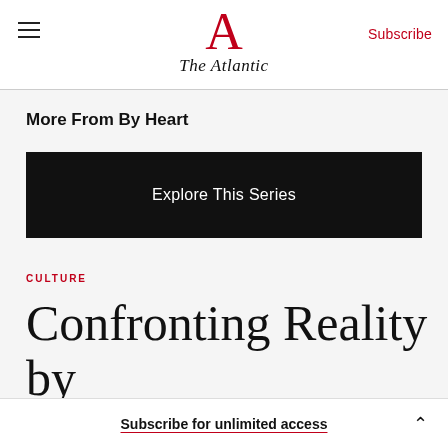The Atlantic
More From By Heart
Explore This Series
CULTURE
Confronting Reality by
Subscribe for unlimited access